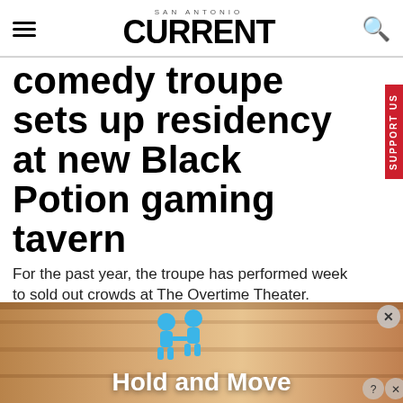SAN ANTONIO CURRENT
comedy troupe sets up residency at new Black Potion gaming tavern
For the past year, the troupe has performed week to sold out crowds at The Overtime Theater.
By Nina Rangel on Thu, Aug 18, 2022 at 11:39 am
[Figure (screenshot): Advertisement banner showing 'Hold and Move' with blue cartoon figures on a wooden background]